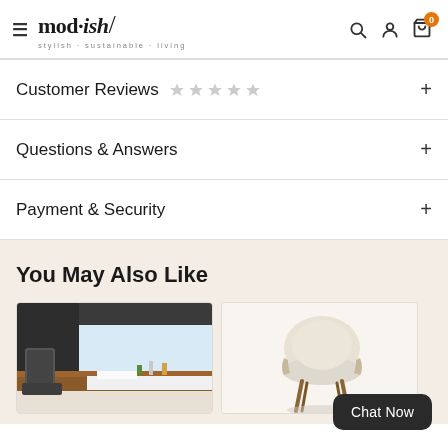mod·ish/ stylish·sustainable·living
Customer Reviews ★★★★★ +
Questions & Answers +
Payment & Security +
You May Also Like
[Figure (photo): Office desk with dark wood tones, two chairs, and a city view window background]
[Figure (photo): Cream upholstered swivel chair with wooden legs]